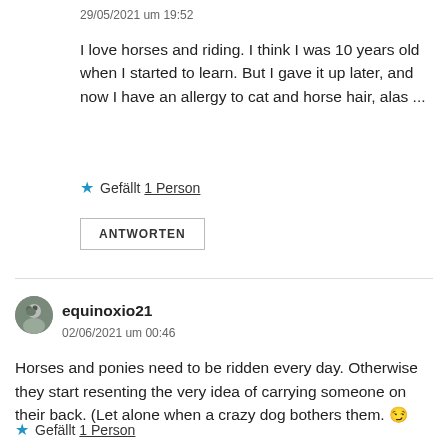29/05/2021 um 19:52
I love horses and riding. I think I was 10 years old when I started to learn. But I gave it up later, and now I have an allergy to cat and horse hair, alas ...
★ Gefällt 1 Person
ANTWORTEN
equinoxio21
02/06/2021 um 00:46
Horses and ponies need to be ridden every day. Otherwise they start resenting the very idea of carrying someone on their back. (Let alone when a crazy dog bothers them. 😉
★ Gefällt 1 Person